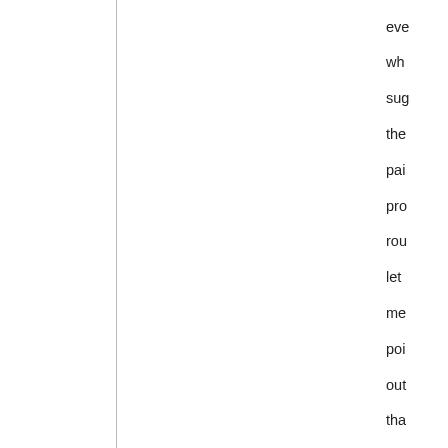eve wh sug the pai pro rou let me poi out tha we alre dor tha one The res wa Na 2. Ma and [v]